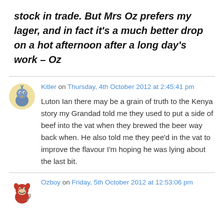stock in trade. But Mrs Oz prefers my lager, and in fact it's a much better drop on a hot afternoon after a long day's work – Oz
Kitler on Thursday, 4th October 2012 at 2:45:41 pm
Luton Ian there may be a grain of truth to the Kenya story my Grandad told me they used to put a side of beef into the vat when they brewed the beer way back when. He also told me they pee'd in the vat to improve the flavour I'm hoping he was lying about the last bit.
Ozboy on Friday, 5th October 2012 at 12:53:06 pm